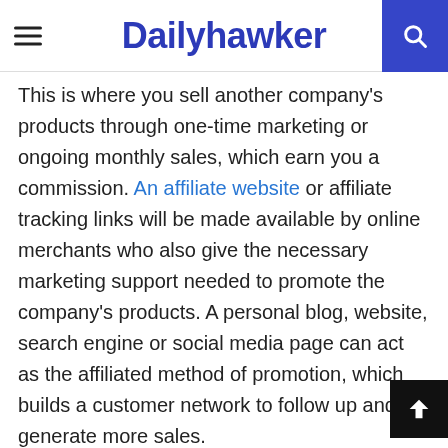Dailyhawker
This is where you sell another company's products through one-time marketing or ongoing monthly sales, which earn you a commission. An affiliate website or affiliate tracking links will be made available by online merchants who also give the necessary marketing support needed to promote the company's products. A personal blog, website, search engine or social media page can act as the affiliated method of promotion, which builds a customer network to follow up and generate more sales.
Affiliate marketing features the ease of selling without having to own any of the products or provide after-sales services to customers and the marketing materials are provided for. Picking a profitable market niche is all that's needed for one of the quickest growing and easiest return